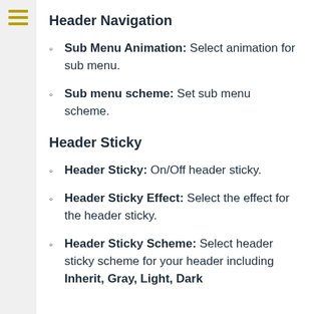Header Navigation
Sub Menu Animation: Select animation for sub menu.
Sub menu scheme: Set sub menu scheme.
Header Sticky
Header Sticky: On/Off header sticky.
Header Sticky Effect: Select the effect for the header sticky.
Header Sticky Scheme: Select header sticky scheme for your header including Inherit, Gray, Light, Dark